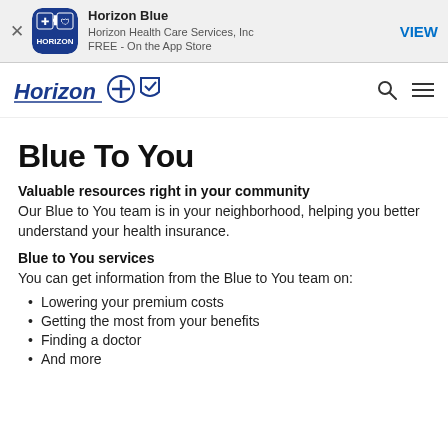[Figure (screenshot): App Store banner for Horizon Blue app by Horizon Health Care Services, Inc. FREE on the App Store. VIEW button on the right.]
[Figure (logo): Horizon Blue Cross Blue Shield logo with search and menu icons in the navigation bar.]
Blue To You
Valuable resources right in your community
Our Blue to You team is in your neighborhood, helping you better understand your health insurance.
Blue to You services
You can get information from the Blue to You team on:
Lowering your premium costs
Getting the most from your benefits
Finding a doctor
And more